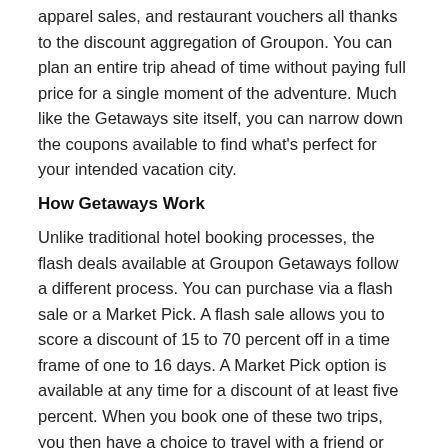apparel sales, and restaurant vouchers all thanks to the discount aggregation of Groupon. You can plan an entire trip ahead of time without paying full price for a single moment of the adventure. Much like the Getaways site itself, you can narrow down the coupons available to find what's perfect for your intended vacation city.
How Getaways Work
Unlike traditional hotel booking processes, the flash deals available at Groupon Getaways follow a different process. You can purchase via a flash sale or a Market Pick. A flash sale allows you to score a discount of 15 to 70 percent off in a time frame of one to 16 days. A Market Pick option is available at any time for a discount of at least five percent. When you book one of these two trips, you then have a choice to travel with a friend or purchase two Groupons for two people at one price. You can also share accommodation packages for two. After you purchase your Getaway via one of the above options, you'll receive a confirmation from both Groupon and the hotel you've booked with. When you buy.